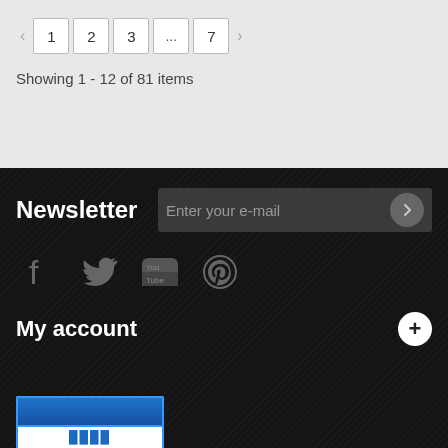Pagination: < 1 2 3 ... 7 >
Showing 1 - 12 of 81 items
Newsletter
Enter your e-mail
[Figure (illustration): Social media icons: Facebook, Twitter, YouTube, Pinterest]
My account
[Figure (photo): Blue banner image at the bottom of the page]